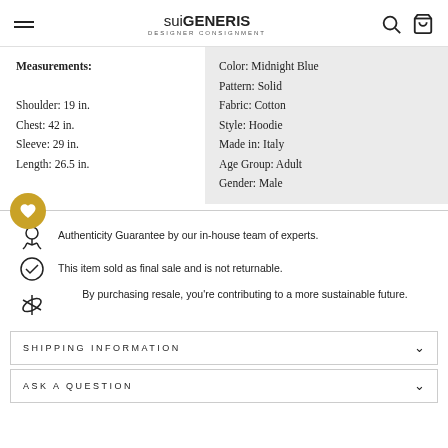suiGENERIS DESIGNER CONSIGNMENT
Measurements:

Shoulder: 19 in.
Chest: 42 in.
Sleeve: 29 in.
Length: 26.5 in.
Color: Midnight Blue
Pattern: Solid
Fabric: Cotton
Style: Hoodie
Made in: Italy
Age Group: Adult
Gender: Male
Authenticity Guarantee by our in-house team of experts.
This item sold as final sale and is not returnable.
By purchasing resale, you're contributing to a more sustainable future.
SHIPPING INFORMATION
ASK A QUESTION